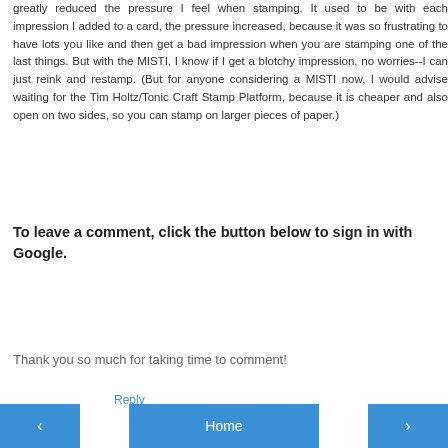greatly reduced the pressure I feel when stamping. It used to be with each impression I added to a card, the pressure increased, because it was so frustrating to have lots you like and then get a bad impression when you are stamping one of the last things. But with the MISTI, I know if I get a blotchy impression, no worries--I can just reink and restamp. (But for anyone considering a MISTI now, I would advise waiting for the Tim Holtz/Tonic Craft Stamp Platform, because it is cheaper and also open on two sides, so you can stamp on larger pieces of paper.)
Reply
To leave a comment, click the button below to sign in with Google.
SIGN IN WITH GOOGLE
Thank you so much for taking time to comment!
Home